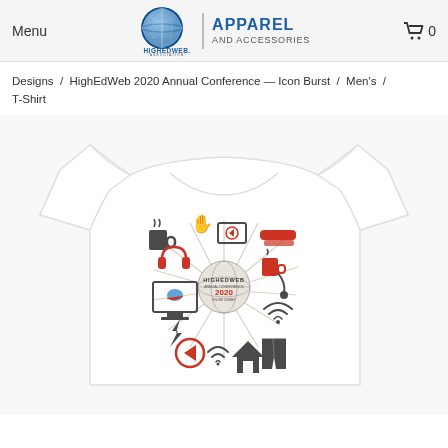Menu | HighEdWeb Association APPAREL AND ACCESSORIES | Cart 0
Designs / HighEdWeb 2020 Annual Conference — Icon Burst / Men's / T-Shirt
[Figure (photo): White men's t-shirt with HighEdWeb 2020 Annual Conference Icon Burst design printed on the chest, showing various icons radiating from central HighEdWeb globe logo including coffee mug, headphones, play button, wifi, house, jeans, stapler, and other icons]